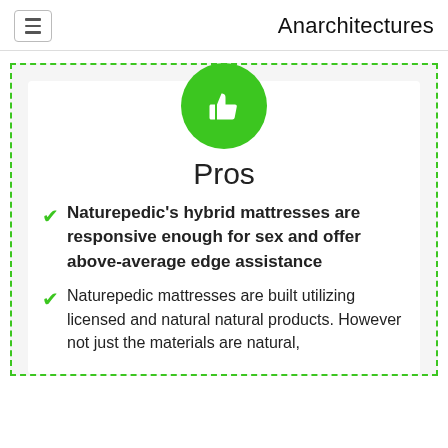Anarchitectures
[Figure (illustration): Green circle with white thumbs-up icon]
Pros
Naturepedic's hybrid mattresses are responsive enough for sex and offer above-average edge assistance
Naturepedic mattresses are built utilizing licensed and natural natural products. However not just the materials are natural, but the construction itself...